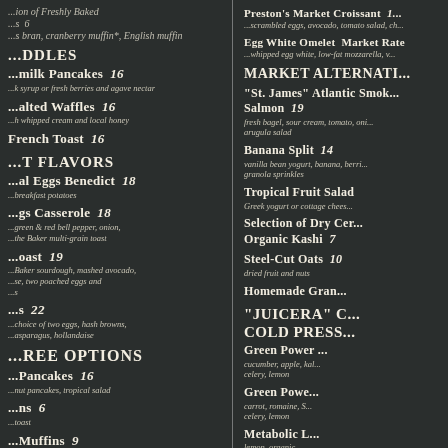...ion of Freshly Baked
...s 6
...s bran, cranberry muffin*, English muffin
...DDLES
...milk Pancakes 16
...k syrup or fresh berries and agave nectar
...alted Waffles 16
...h whipped cream and local honey
French Toast 16
...T FLAVORS
...al Eggs Benedict 18
...breakfast potatoes
...gs Casserole 18
...green & red bell pepper, onion,
...the Baker multi-grain toast
...oast 19
...Baker sourdough, mashed avocado,
...se, two poached eggs and
...s
...s 22
...choice of two eggs, hash browns,
...asparagus, hollandaise
...REE OPTIONS
...Pancakes 16
...nut pancakes, tropical salad
...ns 6
...toast
...Muffins 9
"Belle Sweet Miami":
...blueberry, apple & raisin
Preston's Market Croissant 1...
...scrambled eggs, avocado, tomato salad, ch...
Egg White Omelet Market Rate
...whipped egg white, low-fat mozzarella, v...
MARKET ALTERNATI...
"St. James" Atlantic Smok...
Salmon 19
fresh bagel, sour cream, tomato, oni...
arugula salad
Banana Split 14
vanilla bean yogurt, banana, berri...
granola sprinkles
Tropical Fruit Salad
Greek yogurt or cottage chees...
Selection of Dry Cer...
Organic Kashi 7
Steel-Cut Oats 10
dried fruit and nuts
Homemade Gran...
"JUICERA" C...
COLD PRESS...
Green Power ...
cucumber, apple, kal...
celery, lemon
Green Powe...
carrot, romaine, S...
celery, lemon
Metabolic L...
lemon, organic ...